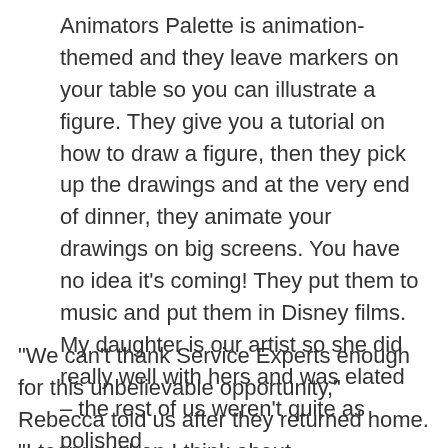Animators Palette is animation-themed and they leave markers on your table so you can illustrate a figure. They give you a tutorial on how to draw a figure, then they pick up the drawings and at the very end of dinner, they animate your drawings on big screens. You have no idea it’s coming! They put them to music and put them in Disney films. My daughter is our artist so she did really well with hers and was elated – the rest of us weren’t quite as polished
“We can’t thank Service Experts enough for this unbelievable opportunity,” Rebecca told us after they returned home. “I tear up when I think about